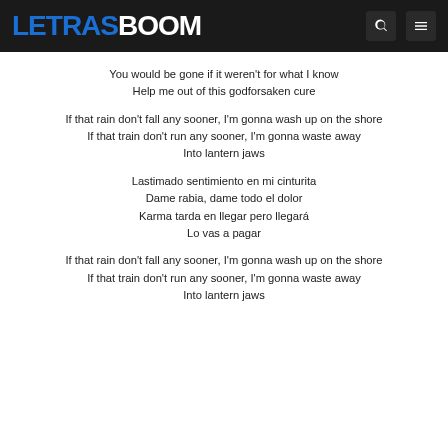LETRASBOOM
You would be gone if it weren't for what I know
Help me out of this godforsaken cure

If that rain don't fall any sooner, I'm gonna wash up on the shore
If that train don't run any sooner, I'm gonna waste away
Into lantern jaws

Lastimado sentimiento en mi cinturita
Dame rabia, dame todo el dolor
Karma tarda en llegar pero llegará
Lo vas a pagar

If that rain don't fall any sooner, I'm gonna wash up on the shore
If that train don't run any sooner, I'm gonna waste away
Into lantern jaws